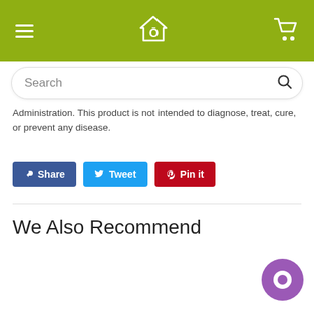[Figure (screenshot): App header bar with hamburger menu, house logo with O, and cart icon on olive/yellow-green background]
[Figure (screenshot): Search bar with magnifying glass icon]
Administration. This product is not intended to diagnose, treat, cure, or prevent any disease.
[Figure (screenshot): Social sharing buttons: Share (Facebook, blue), Tweet (Twitter, light blue), Pin it (Pinterest, red)]
We Also Recommend
[Figure (screenshot): SOLD OUT button in dark grey/slate color]
[Figure (screenshot): Purple circular chat bubble icon in bottom right corner]